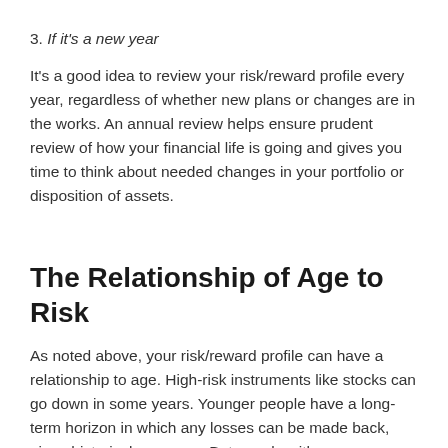3. If it's a new year
It's a good idea to review your risk/reward profile every year, regardless of whether new plans or changes are in the works. An annual review helps ensure prudent review of how your financial life is going and gives you time to think about needed changes in your portfolio or disposition of assets.
The Relationship of Age to Risk
As noted above, your risk/reward profile can have a relationship to age. High-risk instruments like stocks can go down in some years. Younger people have a long-term horizon in which any losses can be made back, given historical averages. But people with